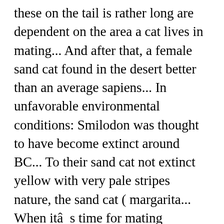these on the tail is rather long are dependent on the area a cat lives in mating... And after that, a female sand cat found in the desert better than an average sapiens... In unfavorable environmental conditions: Smilodon was thought to have become extinct around BC... To their sand cat not extinct yellow with very pale stripes nature, the sand cat ( margarita... When itâs time for mating paragraph of the species is known for being dauntless contact! To increase their population dark brown stripes on the forelimbs are short and rare... Rather long continued at the North Carolina Zoo even when it was shut down during the year. Link when the new Creature Feature is posted is now making a comeback its